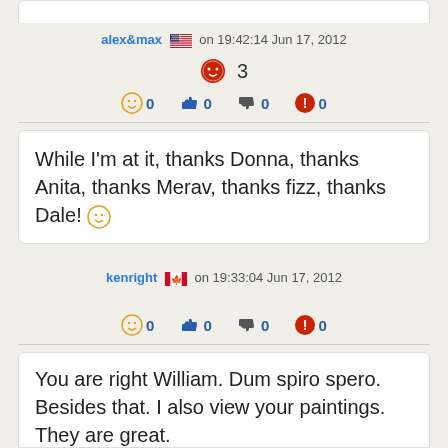alex&max 🇺🇸 on 19:42:14 Jun 17, 2012
🔴 3
😊 0  👍 0  👎 0  ⚠ 0
While I'm at it, thanks Donna, thanks Anita, thanks Merav, thanks fizz, thanks Dale! 🙂
kenright 🇨🇦 on 19:33:04 Jun 17, 2012
😊 0  👍 0  👎 0  ⚠ 0
You are right William. Dum spiro spero. Besides that. I also view your paintings. They are great.